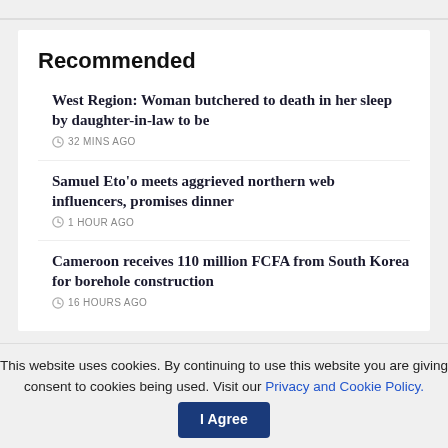Recommended
West Region: Woman butchered to death in her sleep by daughter-in-law to be
32 MINS AGO
Samuel Eto'o meets aggrieved northern web influencers, promises dinner
1 HOUR AGO
Cameroon receives 110 million FCFA from South Korea for borehole construction
16 HOURS AGO
This website uses cookies. By continuing to use this website you are giving consent to cookies being used. Visit our Privacy and Cookie Policy.